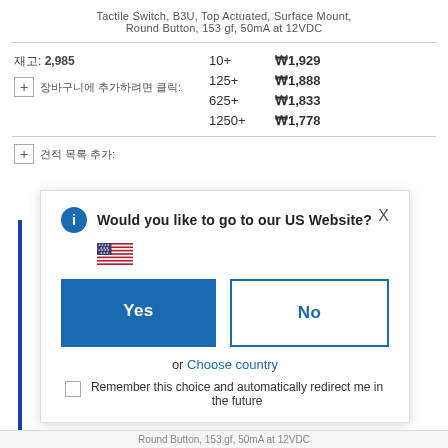Tactile Switch, B3U, Top Actuated, Surface Mount, Round Button, 153 gf, 50mA at 12VDC
| Qty | Price |
| --- | --- |
| 10+ | ₩1,929 |
| 125+ | ₩1,888 |
| 625+ | ₩1,833 |
| 1250+ | ₩1,778 |
Would you like to go to our US Website?
Yes
No
or Choose country
Remember this choice and automatically redirect me in the future
Round Button, 153 gf, 50mA at 12VDC